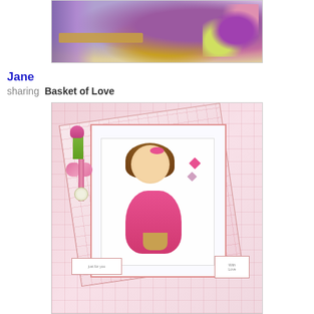[Figure (photo): Top portion of a handmade craft card with purple ribbons, flowers, yellow basket with hearts, and decorative floral embellishments in purple and yellow tones]
Jane
sharing  Basket of Love
[Figure (photo): Handmade craft card featuring an anime-style girl with long brown hair and pink bow, wearing a pink dress and holding a basket, on a pink patterned background with hearts. Tags read 'Just for you' and 'With Love']